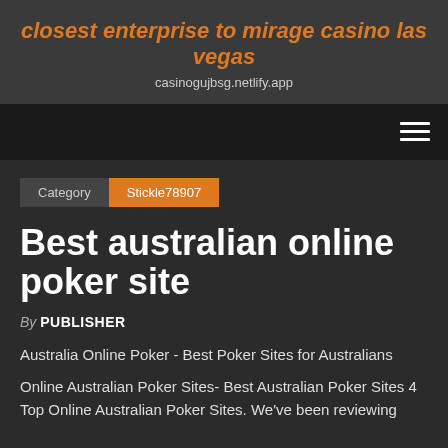closest enterprise to mirage casino las vegas
casinogujbsg.netlify.app
Category  Stickle78907
Best australian online poker site
By PUBLISHER
Australia Online Poker - Best Poker Sites for Australians
Online Australian Poker Sites- Best Australian Poker Sites 4 Top Online Australian Poker Sites. We've been reviewing